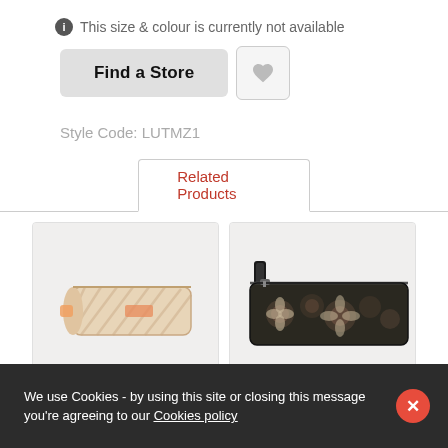ℹ This size & colour is currently not available
Find a Store [heart button]
Style Code: LUTMZ1
Related Products
[Figure (photo): Two product images side by side: left shows a peach/tan patterned pencil case bag lying on its side; right shows a floral dark patterned pencil case with black strap handle]
We use Cookies - by using this site or closing this message you're agreeing to our Cookies policy